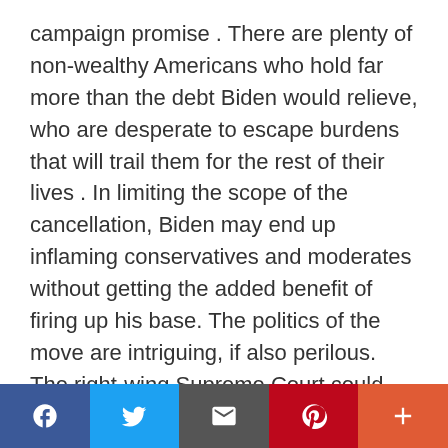campaign promise . There are plenty of non-wealthy Americans who hold far more than the debt Biden would relieve, who are desperate to escape burdens that will trail them for the rest of their lives . In limiting the scope of the cancellation, Biden may end up inflaming conservatives and moderates without getting the added benefit of firing up his base. The politics of the move are intriguing, if also perilous. The right-wing Supreme Court could shoot it all down. The critics, on the left and right, are correct to argue that a limited debt cancellation will not reform the most galling practices of higher education. It will not force individual states or the federal government to
f  [twitter]  [email]  [pinterest]  +